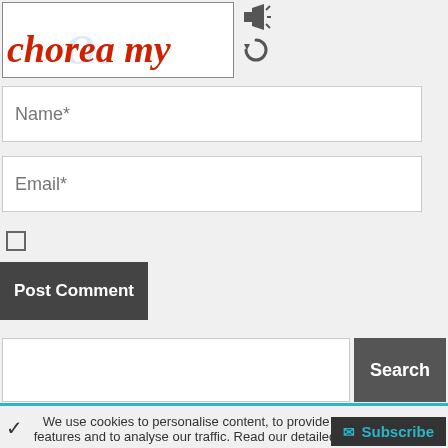[Figure (screenshot): CAPTCHA image showing handwritten text 'chorea my' in red with blue overlay text, plus audio and refresh icons]
Name*
Email*
Post Comment
Search
We use cookies to personalise content, to provide social media features and to analyse our traffic. Read our detailed cookie policy
Subscribe